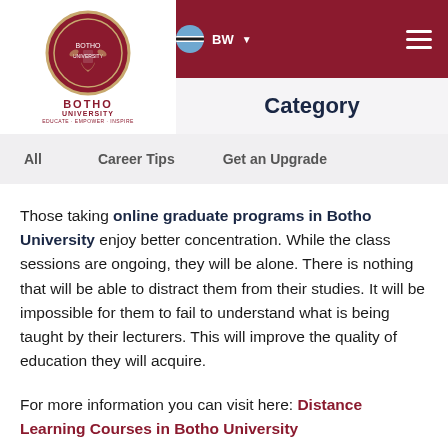Botho University — BW — Category
Category
All
Career Tips
Get an Upgrade
Those taking online graduate programs in Botho University enjoy better concentration. While the class sessions are ongoing, they will be alone. There is nothing that will be able to distract them from their studies. It will be impossible for them to fail to understand what is being taught by their lecturers. This will improve the quality of education they will acquire.
For more information you can visit here: Distance Learning Courses in Botho University